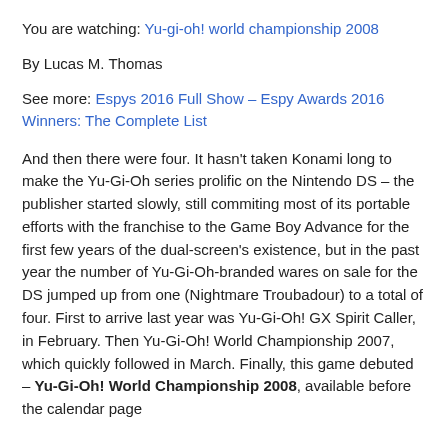You are watching: Yu-gi-oh! world championship 2008
By Lucas M. Thomas
See more: Espys 2016 Full Show – Espy Awards 2016 Winners: The Complete List
And then there were four. It hasn't taken Konami long to make the Yu-Gi-Oh series prolific on the Nintendo DS – the publisher started slowly, still commiting most of its portable efforts with the franchise to the Game Boy Advance for the first few years of the dual-screen's existence, but in the past year the number of Yu-Gi-Oh-branded wares on sale for the DS jumped up from one (Nightmare Troubadour) to a total of four. First to arrive last year was Yu-Gi-Oh! GX Spirit Caller, in February. Then Yu-Gi-Oh! World Championship 2007, which quickly followed in March. Finally, this game debuted – Yu-Gi-Oh! World Championship 2008, available before the calendar page